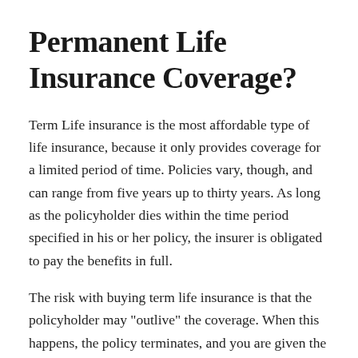Permanent Life Insurance Coverage?
Term Life insurance is the most affordable type of life insurance, because it only provides coverage for a limited period of time. Policies vary, though, and can range from five years up to thirty years. As long as the policyholder dies within the time period specified in his or her policy, the insurer is obligated to pay the benefits in full.
The risk with buying term life insurance is that the policyholder may "outlive" the coverage. When this happens, the policy terminates, and you are given the option to renew. However, the new premiums will most certainly be higher, because you have aged. Still, term life